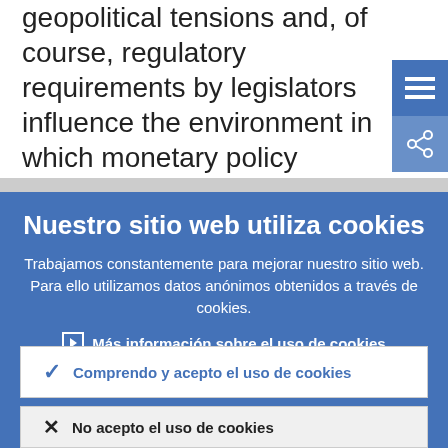geopolitical tensions and, of course, regulatory requirements by legislators influence the environment in which monetary policy operates.
[Figure (screenshot): Blue menu button with three horizontal lines icon in top right]
[Figure (screenshot): Blue share button with network/share icon below menu button]
Nuestro sitio web utiliza cookies
Trabajamos constantemente para mejorar nuestro sitio web. Para ello utilizamos datos anónimos obtenidos a través de cookies.
► Más información sobre el uso de cookies
✓ Comprendo y acepto el uso de cookies
✗ No acepto el uso de cookies